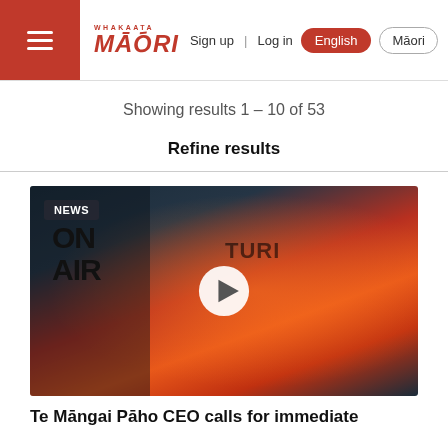Whakaata Māori — Sign up | Log in  English  Māori
Showing results 1 – 10 of 53
Refine results
[Figure (photo): A glowing red 'On Air' broadcast sign with text 'TURI' partially visible, with a white play button overlay indicating a video thumbnail. NEWS badge in top-left corner.]
Te Māngai Pāho CEO calls for immediate